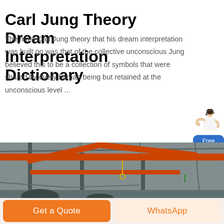Carl Jung Theory Dream Interpretation Dictionary
The main Carl Jung theory that his dream interpretation was built on was that of the collective unconscious Jung believed this to be a collection of symbols that were shared by every human being but retained at the unconscious level ...
[Figure (illustration): Customer service representative figure with 'Free chat' button overlay]
[Figure (photo): Industrial interior showing red overhead crane beams and steel structure ceiling of a factory or warehouse]
Get a Quote
WhatsApp